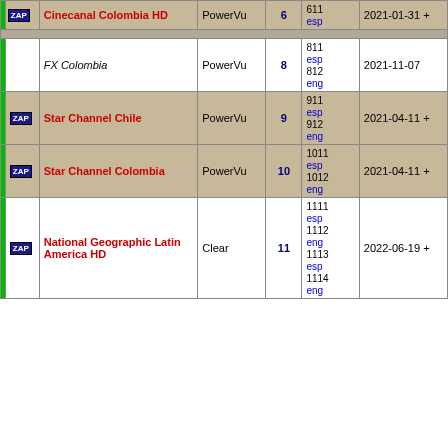|  | Channel | Encryption | SID | Audio | Date |
| --- | --- | --- | --- | --- | --- |
| ZAP | Cinecanal Colombia HD | PowerVu | 6 | 611 esp | 2021-01-31 + |
|  | FX Colombia | PowerVu | 8 | 811 esp 812 eng | 2021-11-07 |
| ZAP | Star Channel Chile | PowerVu | 9 | 911 esp 912 eng | 2021-04-11 + |
| ZAP | Star Channel Colombia | PowerVu | 10 | 1011 esp 1012 eng | 2021-04-11 + |
| ZAP | National Geographic Latin America HD | Clear | 11 | 1111 esp 1112 eng 1113 esp 1114 eng | 2022-06-19 + |
| Pos | Sat | Freq | Pol | System | Mod | SR/FEC |  |
| --- | --- | --- | --- | --- | --- | --- | --- |
| 55.5° W | Intelsat 34 | 3846.00 | H | DVB-S2 | 8PSK | 30000 3/4 | edit |
|  | Channel | Encryption | SID | Audio | Date |
| --- | --- | --- | --- | --- | --- |
|  | LAST Channel 1 | Nagravision 3 | 1 | 514 | 2015-12-31 |
|  | LAST Channel 2 | Nagravision 3 | 2 | 530 | 2015-12-31 |
|  | LAST Channel 3 | Nagravision 3 | 3 | 546 | 2015-12-31 |
|  | LAST Channel 4 | Nagravision 3 | 4 | 562 | 2015-12-31 |
|  | LAST Channel 5 | Nagravision 3 | 5 | 578 | 2015-12-31 |
|  | LAST Channel 6 | Nagravision 3 | 6 | 594 | 2015-12-31 |